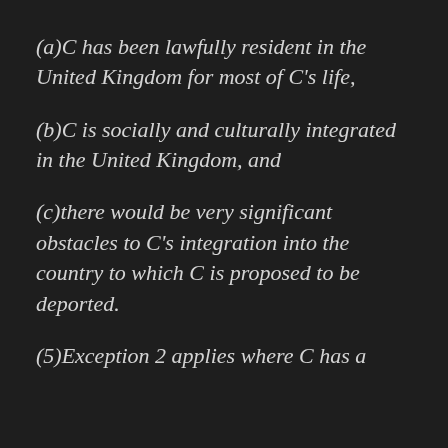(a) C has been lawfully resident in the United Kingdom for most of C’s life,
(b) C is socially and culturally integrated in the United Kingdom, and
(c) there would be very significant obstacles to C’s integration into the country to which C is proposed to be deported.
(5) Exception 2 applies where C has a